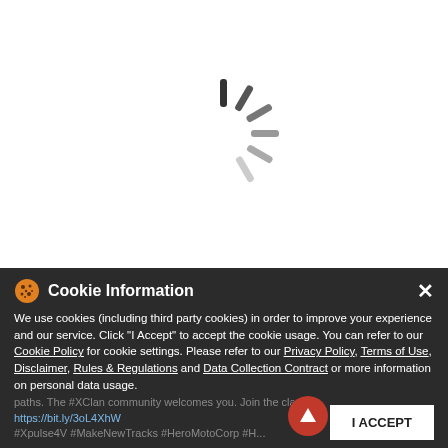[Figure (screenshot): Loading spinner animation (dark diagonal lines radiating from center) on white background]
[Figure (screenshot): Android robot icon (green) on light gray background, sidebar button]
[Figure (screenshot): Apple logo icon (dark) on light gray background, sidebar button]
Cookie Information
We use cookies (including third party cookies) in order to improve your experience and our service. Click "I Accept" to accept the cookie usage. You can refer to our Cookie Policy for cookie settings. Please refer to our Privacy Policy, Terms of Use, Disclaimer, Rules & Regulations and Data Collection Contract or more information on personal data usage.
paths. The #XClan community welcomes you. Join the clan: https://bit.ly/3oL4XhW #Xpulse4V #MakeNewTracks #HeroMotoCorp #H... #XClan